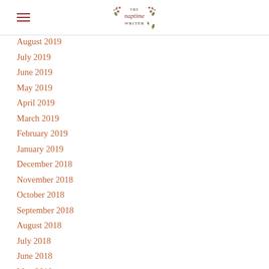The Naptime Writer
August 2019
July 2019
June 2019
May 2019
April 2019
March 2019
February 2019
January 2019
December 2018
November 2018
October 2018
September 2018
August 2018
July 2018
June 2018
May 2018
March 2018